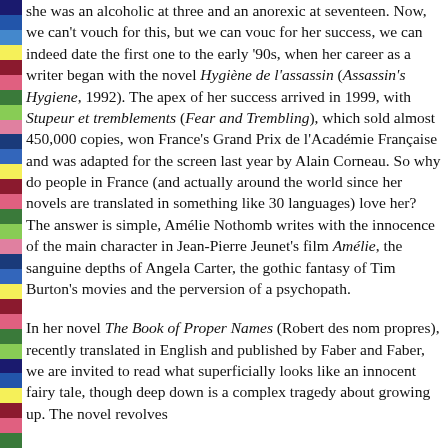she was an alcoholic at three and an anorexic at seventeen. Now, we can't vouch for this, but we can vouch for her success, we can indeed date the first one to the early '90s, when her career as a writer began with the novel Hygiène de l'assassin (Assassin's Hygiene, 1992). The apex of her success arrived in 1999, with Stupeur et tremblements (Fear and Trembling), which sold almost 450,000 copies, won France's Grand Prix de l'Académie Française and was adapted for the screen last year by Alain Corneau. So why do people in France (and actually around the world since her novels are translated in something like 30 languages) love her? The answer is simple, Amélie Nothomb writes with the innocence of the main character in Jean-Pierre Jeunet's film Amélie, the sanguine depths of Angela Carter, the gothic fantasy of Tim Burton's movies and the perversion of a psychopath.
In her novel The Book of Proper Names (Robert des noms propres), recently translated in English and published by Faber and Faber, we are invited to read what superficially looks like an innocent fairy tale, though deep down is a complex tragedy about growing up. The novel revolves...